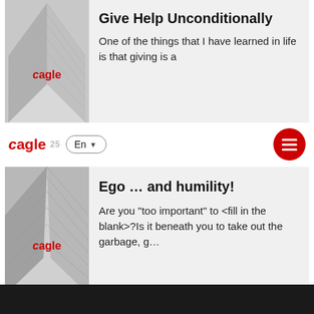[Figure (photo): Building looking up with eagle logo overlay — top card image]
Give Help Unconditionally
One of the things that I have learned in life is that giving is a
eagle 25  En  [menu button]
[Figure (photo): Building looking up with eagle logo overlay — main card image]
Ego … and humility!
Are you "too important" to <fill in the blank>?Is it beneath you to take out the garbage, g…